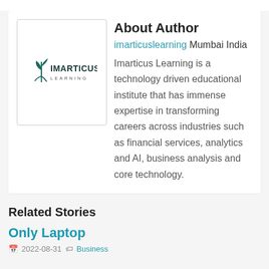[Figure (logo): Imarticus Learning logo — a stylized plant/leaf icon above text reading 'IMARTICUS LEARNING']
About Author
imarticuslearning Mumbai India
Imarticus Learning is a technology driven educational institute that has immense expertise in transforming careers across industries such as financial services, analytics and AI, business analysis and core technology.
Related Stories
Only Laptop
2022-08-31  Business